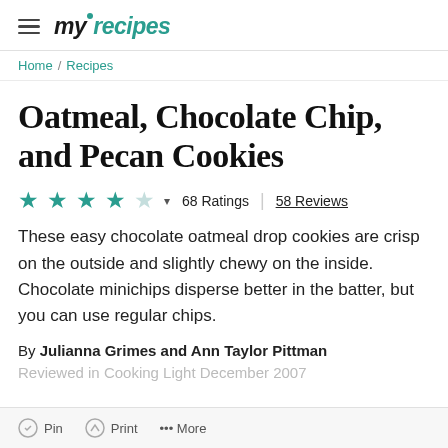myrecipes
Home / Recipes
Oatmeal, Chocolate Chip, and Pecan Cookies
★★★★☆ 68 Ratings | 58 Reviews
These easy chocolate oatmeal drop cookies are crisp on the outside and slightly chewy on the inside. Chocolate minichips disperse better in the batter, but you can use regular chips.
By Julianna Grimes and Ann Taylor Pittman
Reviewed in Cooking Light December 2007